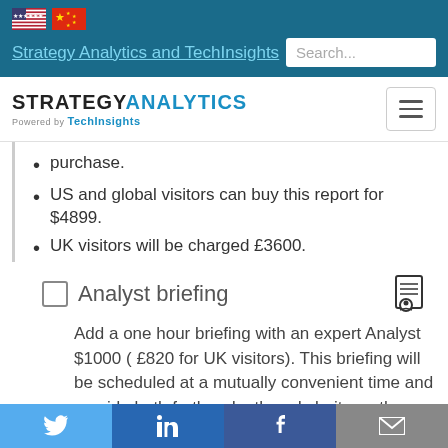Strategy Analytics and TechInsights
[Figure (logo): Strategy Analytics powered by TechInsights logo]
purchase.
US and global visitors can buy this report for $4899.
UK visitors will be charged £3600.
Analyst briefing
Add a one hour briefing with an expert Analyst $1000 ( £820 for UK visitors). This briefing will be scheduled at a mutually convenient time and provide both further depth and clarity on the report topic. A Q&A session will be included.
Social share buttons: Twitter, LinkedIn, Facebook, Email